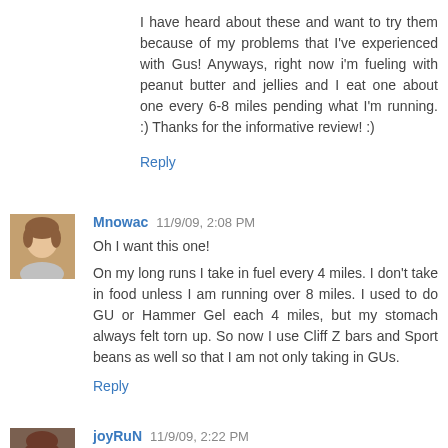I have heard about these and want to try them because of my problems that I've experienced with Gus! Anyways, right now i'm fueling with peanut butter and jellies and I eat one about one every 6-8 miles pending what I'm running. :) Thanks for the informative review! :)
Reply
Mnowac 11/9/09, 2:08 PM
Oh I want this one!
On my long runs I take in fuel every 4 miles. I don't take in food unless I am running over 8 miles. I used to do GU or Hammer Gel each 4 miles, but my stomach always felt torn up. So now I use Cliff Z bars and Sport beans as well so that I am not only taking in GUs.
Reply
joyRuN 11/9/09, 2:22 PM